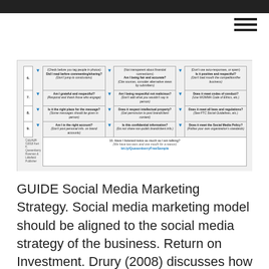[Figure (table-as-image): A social media checklist table with 10 numbered rows and 3 columns of questions to ask before posting on social media, including questions like 'Did I read before commenting/sharing?', 'Am I being fair and accurate?', 'Is it positive and respectful?' with a copyright notice and a blue link: bit.ly/QuesenberryFreeSample]
GUIDE Social Media Marketing Strategy. Social media marketing model should be aligned to the social media strategy of the business. Return on Investment. Drury (2008) discusses how marketers of various industries and businesses can effectively engage in social media marketing. The paper gives a fairly comprehensive view on what social media is and the role of marketing within it., Nov 06, 2019B Ro Roo...